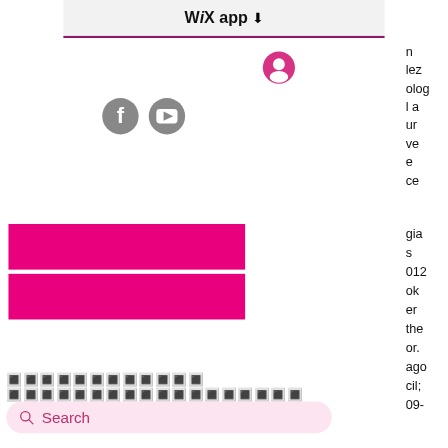WiX app
[Figure (screenshot): Mobile app interface showing WiX app header with download icon, user profile avatar icon, social media icons (Facebook and YouTube), two magenta/pink rectangular blocks, corrupted text characters, and a pink search bar at the bottom. Right side shows partial text cut off.]
n lez olog l a ur ve e ce
gia s 012 ok er the or. ago cil; 09-
Search